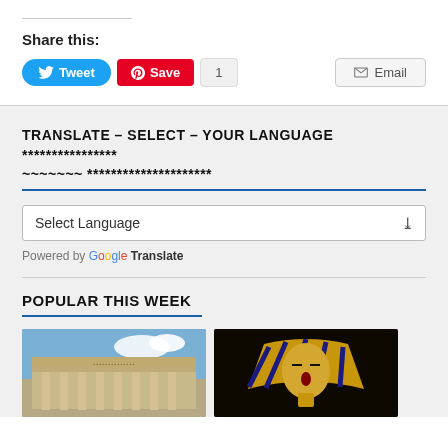Share this:
[Figure (screenshot): Social sharing buttons: Tweet (Twitter, blue), Save (Pinterest, red), count badge showing 1, and Email button]
TRANSLATE – SELECT – YOUR LANGUAGE **************** ~~~~~~~ *********************
[Figure (screenshot): Google Translate language selector dropdown widget with 'Select Language' placeholder and chevron arrow]
Powered by Google Translate
POPULAR THIS WEEK
[Figure (photo): Two thumbnail images side by side: left shows a classical museum building facade (British Museum style) against blue sky; right shows a golden Egyptian pharaoh mask/sarcophagus on dark background]